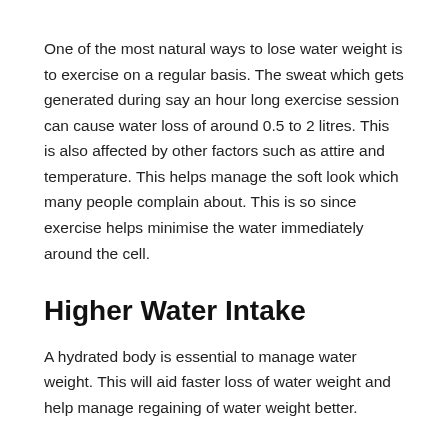One of the most natural ways to lose water weight is to exercise on a regular basis. The sweat which gets generated during say an hour long exercise session can cause water loss of around 0.5 to 2 litres. This is also affected by other factors such as attire and temperature. This helps manage the soft look which many people complain about. This is so since exercise helps minimise the water immediately around the cell.
Higher Water Intake
A hydrated body is essential to manage water weight. This will aid faster loss of water weight and help manage regaining of water weight better.